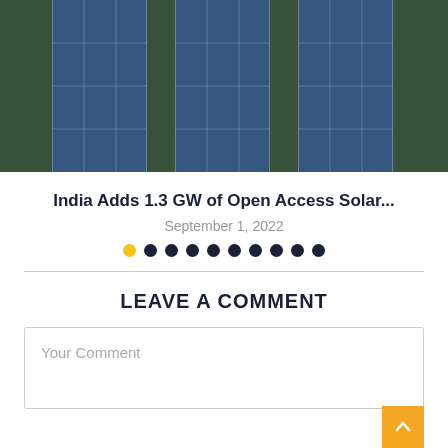[Figure (photo): Aerial view of solar panels arranged in a grid pattern with green vegetation between rows, seen from above]
India Adds 1.3 GW of Open Access Solar...
September 1, 2022
LEAVE A COMMENT
Your Comment